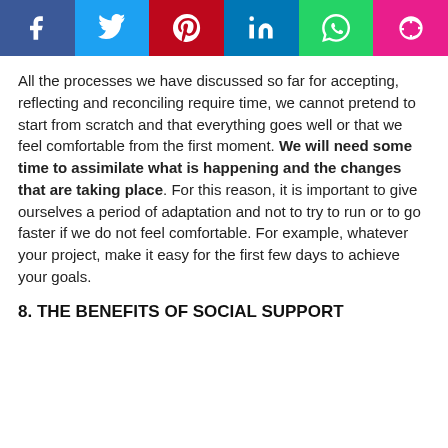[Figure (other): Social media sharing bar with Facebook, Twitter, Pinterest, LinkedIn, WhatsApp, and Messenger buttons]
All the processes we have discussed so far for accepting, reflecting and reconciling require time, we cannot pretend to start from scratch and that everything goes well or that we feel comfortable from the first moment. We will need some time to assimilate what is happening and the changes that are taking place. For this reason, it is important to give ourselves a period of adaptation and not to try to run or to go faster if we do not feel comfortable. For example, whatever your project, make it easy for the first few days to achieve your goals.
8. THE BENEFITS OF SOCIAL SUPPORT